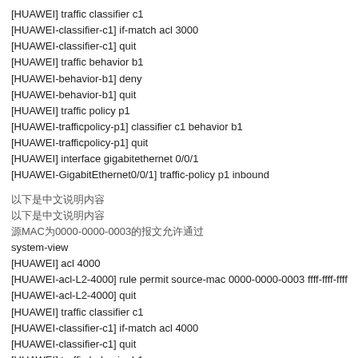[HUAWEI] traffic classifier c1
[HUAWEI-classifier-c1] if-match acl 3000
[HUAWEI-classifier-c1] quit
[HUAWEI] traffic behavior b1
[HUAWEI-behavior-b1] deny
[HUAWEI-behavior-b1] quit
[HUAWEI] traffic policy p1
[HUAWEI-trafficpolicy-p1] classifier c1 behavior b1
[HUAWEI-trafficpolicy-p1] quit
[HUAWEI] interface gigabitethernet 0/0/1
[HUAWEI-GigabitEthernet0/0/1] traffic-policy p1 inbound
以下是中文说明内容
以下是中文说明内容
源MAC为0000-0000-0003的报文允许通过
system-view
[HUAWEI] acl 4000
[HUAWEI-acl-L2-4000] rule permit source-mac 0000-0000-0003 ffff-ffff-ffff
[HUAWEI-acl-L2-4000] quit
[HUAWEI] traffic classifier c1
[HUAWEI-classifier-c1] if-match acl 4000
[HUAWEI-classifier-c1] quit
[HUAWEI] traffic behavior b1
[HUAWEI-behavior-b1] statistic enable